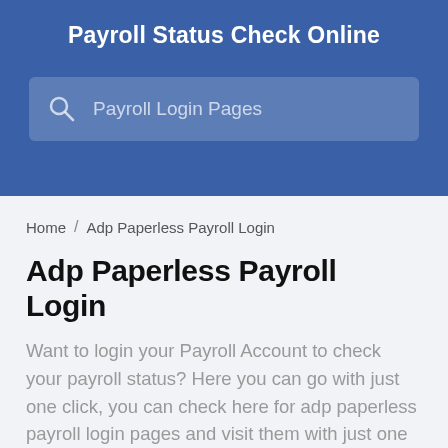Payroll Status Check Online
[Figure (screenshot): Search bar with placeholder text 'Payroll Login Pages' on blue background]
Home / Adp Paperless Payroll Login
Adp Paperless Payroll Login
Want to login your Payroll Account to check your payroll status? Here you can go with just one click, you can check here for adp paperless payroll login pages and visit them with just one click.